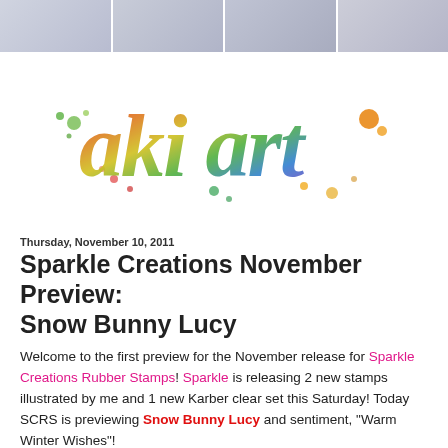[Header strip with thumbnail images]
[Figure (logo): Colorful watercolor-style 'aki art' logo in rainbow script lettering with paint splatter dots]
Thursday, November 10, 2011
Sparkle Creations November Preview: Snow Bunny Lucy
Welcome to the first preview for the November release for Sparkle Creations Rubber Stamps! Sparkle is releasing 2 new stamps illustrated by me and 1 new Karber clear set this Saturday! Today SCRS is previewing Snow Bunny Lucy and sentiment, "Warm Winter Wishes"!